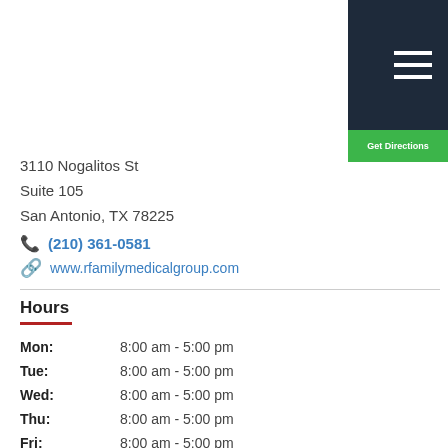[Figure (other): Dark navy navigation bar with three white hamburger menu lines in top-right corner]
[Figure (other): Green 'Get Directions' button below nav bar]
3110 Nogalitos St
Suite 105
San Antonio, TX 78225
(210) 361-0581
www.rfamilymedicalgroup.com
Hours
| Day | Hours |
| --- | --- |
| Mon: | 8:00 am - 5:00 pm |
| Tue: | 8:00 am - 5:00 pm |
| Wed: | 8:00 am - 5:00 pm |
| Thu: | 8:00 am - 5:00 pm |
| Fri: | 8:00 am - 5:00 pm |
| Sat: | 8:30 am - 1:00 pm |
Areas We Service:
South San Antonio, TX,  Pleasanton, TX,  Adkins, TX,  Helotes, TX,  Lackland A F B, TX,  Somerset, TX,  New Braunfels,